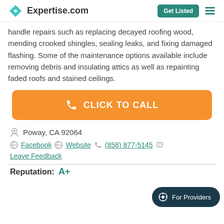Expertise.com | Get Listed
handle repairs such as replacing decayed roofing wood, mending crooked shingles, sealing leaks, and fixing damaged flashing. Some of the maintenance options available include removing debris and insulating attics as well as repainting faded roofs and stained ceilings.
[Figure (other): Orange call-to-action button with phone icon and text CLICK TO CALL]
Poway, CA 92064
Facebook  Website  (858) 877-5145
Leave Feedback
Reputation: A+